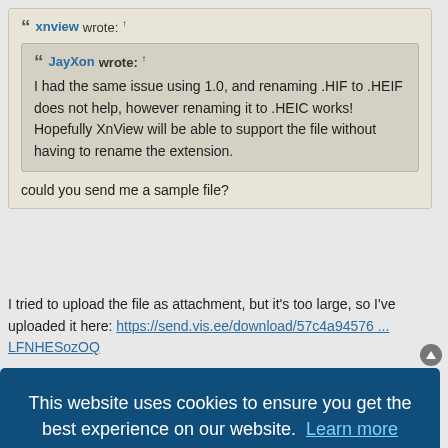xnview wrote: ↑
JayXon wrote: ↑
I had the same issue using 1.0, and renaming .HIF to .HEIF does not help, however renaming it to .HEIC works! Hopefully XnView will be able to support the file without having to rename the extension.
could you send me a sample file?
I tried to upload the file as attachment, but it's too large, so I've uploaded it here: https://send.vis.ee/download/57c4a94576 ... LFNHESozOQ
Post Reply
es are UTC
This website uses cookies to ensure you get the best experience on our website. Learn more
Got it!